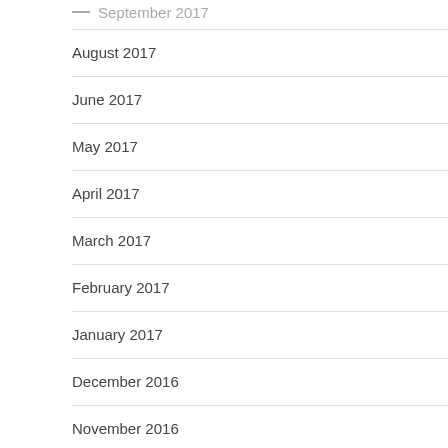September 2017
August 2017
June 2017
May 2017
April 2017
March 2017
February 2017
January 2017
December 2016
November 2016
September 2016
August 2016